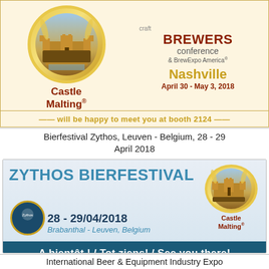[Figure (illustration): Castle Malting logo and Craft Brewers Conference Nashville April 30 - May 3 2018 banner with booth 2124 text]
Bierfestival Zythos, Leuven - Belgium, 28 - 29 April 2018
[Figure (illustration): Zythos Bierfestival banner with dates 28-29/04/2018, Brabanthal - Leuven Belgium, Castle Malting logo and A bientôt ! / Tot ziens! / See you there! footer]
International Beer & Equipment Industry Expo 2018 / Seoul, Korea / 26 - 28 April, 2018